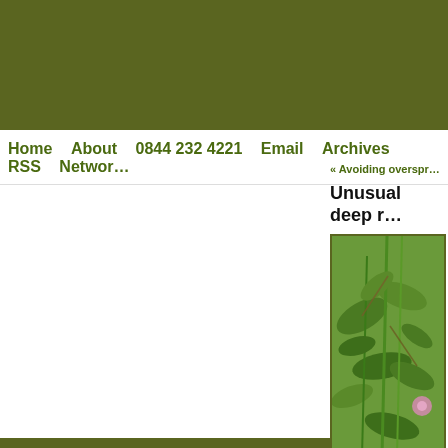[Figure (other): Olive/dark green banner header background]
Home   About   0844 232 4221   Email   Archives   RSS   Networ…
« Avoiding overspr…
Unusual deep r…
[Figure (photo): Close-up photo of green plant stems and leaves with small pink/purple flowers, possibly a legume or vetch plant]